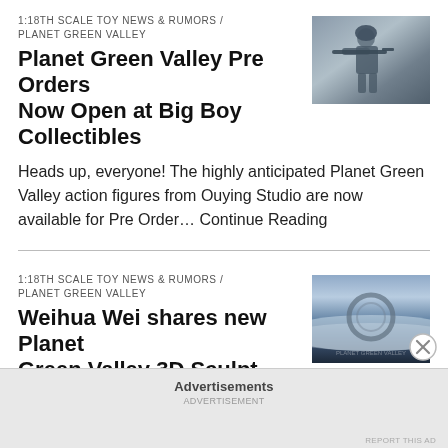1:18TH SCALE TOY NEWS & RUMORS / PLANET GREEN VALLEY
Planet Green Valley Pre Orders Now Open at Big Boy Collectibles
[Figure (photo): Photo of a military action figure soldier aiming a rifle, gray/blue toned background]
Heads up, everyone! The highly anticipated Planet Green Valley action figures from Ouying Studio are now available for Pre Order… Continue Reading
1:18TH SCALE TOY NEWS & RUMORS / PLANET GREEN VALLEY
Weihua Wei shares new Planet Green Valley 3D Sculpt Images
[Figure (photo): Photo of a space/sky scene with horizon of Earth from orbit and a large circular structure or ring floating above clouds]
Earlier today I shared word on an assortment of carded samples from Ouying Studio's Planet Green Valley line. That wasn't… Continue Reading
Advertisements